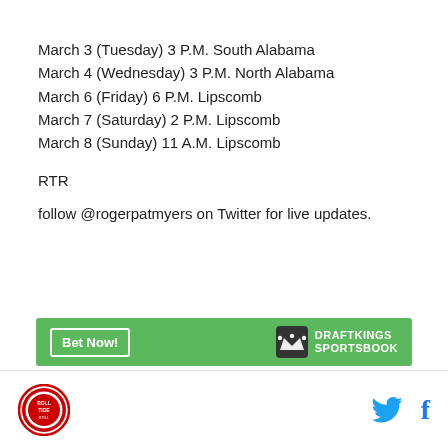March 3 (Tuesday) 3 P.M. South Alabama
March 4 (Wednesday) 3 P.M. North Alabama
March 6 (Friday) 6 P.M. Lipscomb
March 7 (Saturday) 2 P.M. Lipscomb
March 8 (Sunday) 11 A.M. Lipscomb
RTR
follow @rogerpatmyers on Twitter for live updates.
[Figure (logo): DraftKings Sportsbook banner with green background, Bet Now button and DraftKings Sportsbook logo]
Footer with circular Alabama logo on left and Twitter and Facebook icons on right